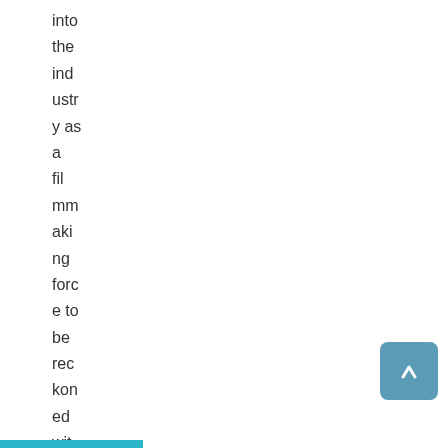into the industry as a filmmaking force to be reckoned with. Those